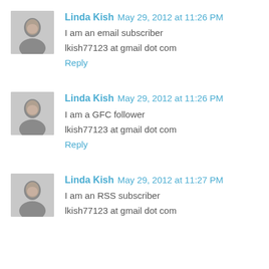Linda Kish May 29, 2012 at 11:26 PM
I am an email subscriber
lkish77123 at gmail dot com
Reply
Linda Kish May 29, 2012 at 11:26 PM
I am a GFC follower
lkish77123 at gmail dot com
Reply
Linda Kish May 29, 2012 at 11:27 PM
I am an RSS subscriber
lkish77123 at gmail dot com